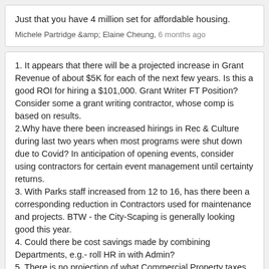Just that you have 4 million set for affordable housing.
Michele Partridge &amp; Elaine Cheung, 6 months ago
1. It appears that there will be a projected increase in Grant Revenue of about $5K for each of the next few years. Is this a good ROI for hiring a $101,000. Grant Writer FT Position? Consider some a grant writing contractor, whose comp is based on results.
2.Why have there been increased hirings in Rec & Culture during last two years when most programs were shut down due to Covid? In anticipation of opening events, consider using contractors for certain event management until certainty returns.
3. With Parks staff increased from 12 to 16, has there been a corresponding reduction in Contractors used for maintenance and projects. BTW - the City-Scaping is generally looking good this year.
4. Could there be cost savings made by combining Departments, e.g.- roll HR in with Admin?
5. There is no projection of what Commercial Property taxes will be. Almost all businesses in WR have had a